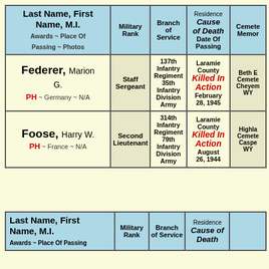| Last Name, First Name, M.I.
Awards ~ Place Of Passing ~ Photos | Military Rank | Branch of Service | Residence
Cause of Death
Date Of Passing | Cemetery Memorial |
| --- | --- | --- | --- | --- |
| Federer, Marion G.
PH ~ Germany ~ N/A | Staff Sergeant | 137th Infantry Regiment 35th Infantry Division Army | Laramie County
Killed In Action
February 28, 1945 | Beth E Cemetery Cheyenne WY |
| Foose, Harry W.
PH ~ France ~ N/A | Second Lieutenant | 314th Infantry Regiment 79th Infantry Division Army | Laramie County
Killed In Action
August 26, 1944 | Highland Cemetery Casper WY |
| Last Name, First Name, M.I.
Awards ~ Place Of Passing | Military Rank | Branch of Service | Residence
Cause of Death |
| --- | --- | --- | --- |